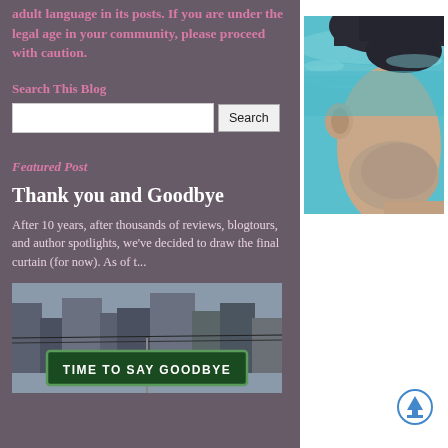adult language in its posts. If you are under the legal age in your community, please proceed with caution.
Search This Blog
Search
Featured Post
Thank you and Goodbye
After 10 years, after thousands of reviews, blogtours, and author spotlights, we've decided to draw the final curtain (for now). As of t...
[Figure (photo): Street sign reading TIME TO SAY GOODBYE over city buildings background]
[Figure (photo): Close-up of a man's face partially submerged in blue water, viewed from above]